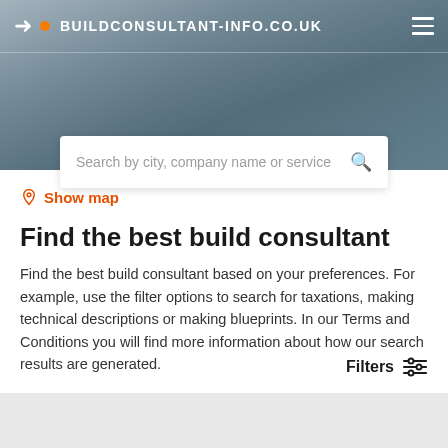BUILDCONSULTANT-INFO.CO.UK
[Figure (screenshot): Search bar with placeholder text: Search by city, company name or service]
Show map
Find the best build consultant
Find the best build consultant based on your preferences. For example, use the filter options to search for taxations, making technical descriptions or making blueprints. In our Terms and Conditions you will find more information about how our search results are generated.
Filters